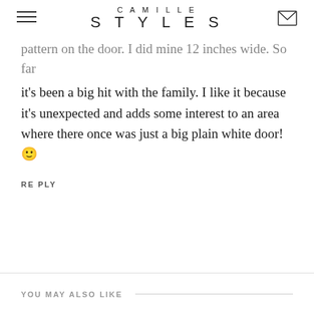CAMILLE STYLES
pattern on the door. I did mine 12 inches wide. So far it's been a big hit with the family. I like it because it's unexpected and adds some interest to an area where there once was just a big plain white door! 🙂
REPLY
YOU MAY ALSO LIKE